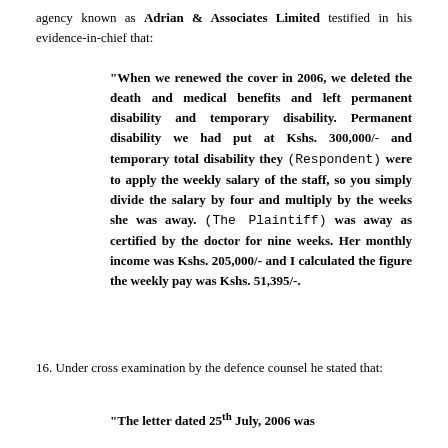agency known as Adrian & Associates Limited testified in his evidence-in-chief that:
“When we renewed the cover in 2006, we deleted the death and medical benefits and left permanent disability and temporary disability. Permanent disability we had put at Kshs. 300,000/- and temporary total disability they (Respondent) were to apply the weekly salary of the staff, so you simply divide the salary by four and multiply by the weeks she was away. (The Plaintiff) was away as certified by the doctor for nine weeks. Her monthly income was Kshs. 205,000/- and I calculated the figure the weekly pay was Kshs. 51,395/-.
16. Under cross examination by the defence counsel he stated that:
“The letter dated 25th July, 2006 was